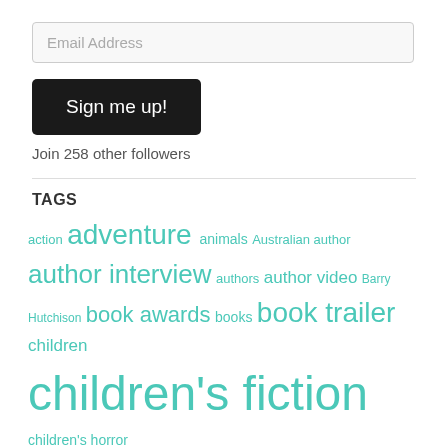Email Address
Sign me up!
Join 258 other followers
TAGS
action adventure animals Australian author author interview authors author video Barry Hutchison book awards books book trailer children children's fiction children's horror children's nonfiction competition Department 19